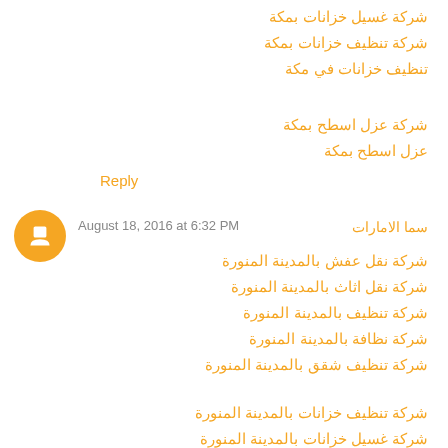شركة غسيل خزانات بمكة
شركة تنظيف خزانات بمكة
تنظيف خزانات في مكة
شركة عزل اسطح بمكة
عزل اسطح بمكة
Reply
سما الامارات  August 18, 2016 at 6:32 PM
شركة نقل عفش بالمدينة المنورة
شركة نقل اثاث بالمدينة المنورة
شركة تنظيف بالمدينة المنورة
شركة نظافة بالمدينة المنورة
شركة تنظيف شقق بالمدينة المنورة
شركة تنظيف خزانات بالمدينة المنورة
شركة غسيل خزانات بالمدينة المنورة
شركة تنظيف بالمدينة المنورة